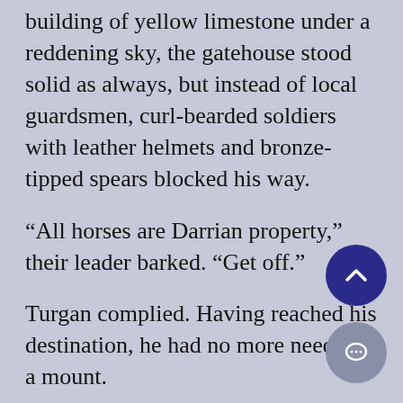building of yellow limestone under a reddening sky, the gatehouse stood solid as always, but instead of local guardsmen, curl-bearded soldiers with leather helmets and bronze-tipped spears blocked his way.
“All horses are Darrian property,” their leader barked. “Get off.”
Turgan complied. Having reached his destination, he had no more need for a mount.
“Who are you? Whereto bound?”
“I’m Turgan, a native of this town…
“Search him!”
Hard hands prodded and probed. They found his money and his knife, and